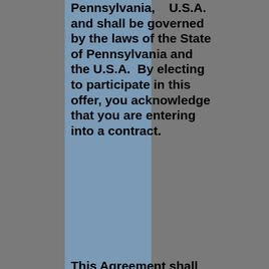Pennsylvania, U.S.A. and shall be governed by the laws of the State of Pennsylvania and the U.S.A. By electing to participate in this offer, you acknowledge that you are entering into a contract.
This Agreement shall be governed by and construed in accordance with the laws of the State of Pennsylvania. Any legal action arising out of this Agreement shall be litigated and enforced under the laws of the State of Pennsylvania, and any legal action pursued by you shall be within the exclusive jurisdiction